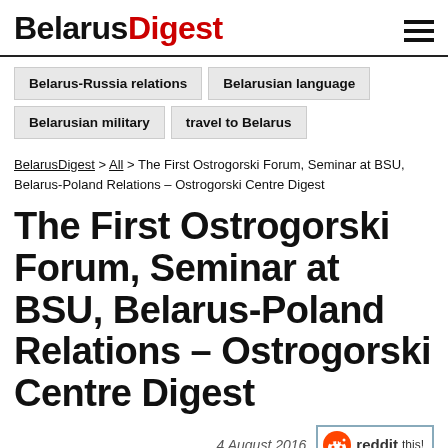BelarusDigest
Belarus-Russia relations
Belarusian language
Belarusian military
travel to Belarus
BelarusDigest > All > The First Ostrogorski Forum, Seminar at BSU, Belarus-Poland Relations – Ostrogorski Centre Digest
The First Ostrogorski Forum, Seminar at BSU, Belarus-Poland Relations – Ostrogorski Centre Digest
4 August 2016